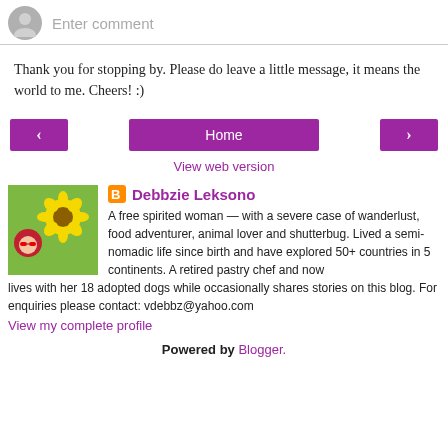[Figure (other): Comment input area with gray avatar icon and placeholder text 'Enter comment']
Thank you for stopping by. Please do leave a little message, it means the world to me. Cheers! :)
[Figure (other): Navigation buttons: left arrow, Home, right arrow]
View web version
[Figure (photo): Profile photo of a woman with red hair in a sunflower field]
Debbzie Leksono
A free spirited woman — with a severe case of wanderlust, food adventurer, animal lover and shutterbug. Lived a semi-nomadic life since birth and have explored 50+ countries in 5 continents. A retired pastry chef and now lives with her 18 adopted dogs while occasionally shares stories on this blog. For enquiries please contact: vdebbz@yahoo.com
View my complete profile
Powered by Blogger.